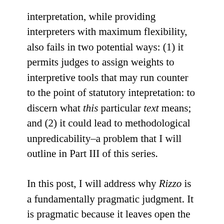interpretation, while providing interpreters with maximum flexibility, also fails in two potential ways: (1) it permits judges to assign weights to interpretive tools that may run counter to the point of statutory intepretation: to discern what this particular text means; and (2) it could lead to methodological unpredicability–a problem that I will outline in Part III of this series.
In this post, I will address why Rizzo is a fundamentally pragmatic judgment. It is pragmatic because it leaves open the possibility, particularly in the use of purpose, for text to be supplanted if other interpretive tools point in another direction. In other